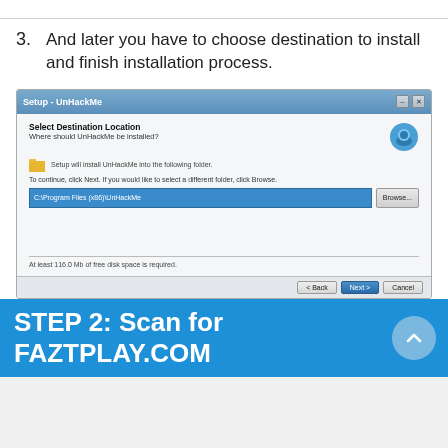3. And later you have to choose destination to install and finish installation process.
[Figure (screenshot): Screenshot of UnHackMe Setup wizard showing 'Select Destination Location' dialog with folder path 'C:\Program Files (x86)\UnHackMe', Browse button, and Back/Next/Cancel buttons at the bottom.]
STEP 2: Scan for FAZTPLAY.COM